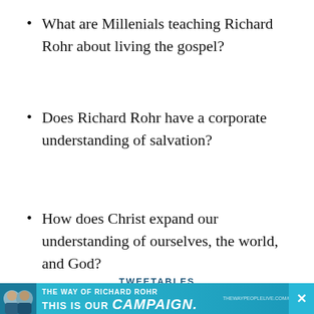What are Millenials teaching Richard Rohr about living the gospel?
Does Richard Rohr have a corporate understanding of salvation?
How does Christ expand our understanding of ourselves, the world, and God?
TWEETABLES
[Figure (other): Advertisement banner reading THIS IS OUR CAMPAIGN with faces on left and close button on right]